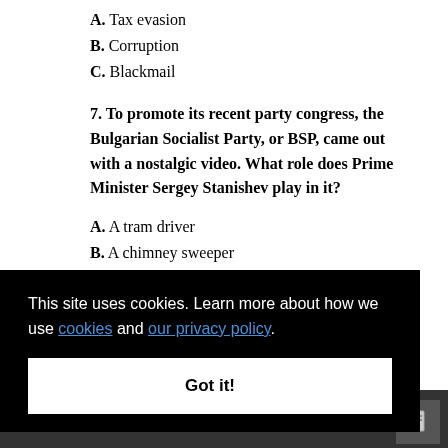A. Tax evasion
B. Corruption
C. Blackmail
7. To promote its recent party congress, the Bulgarian Socialist Party, or BSP, came out with a nostalgic video. What role does Prime Minister Sergey Stanishev play in it?
A. A tram driver
B. A chimney sweeper
This site uses cookies. Learn more about how we use cookies and our privacy policy.
Got it!